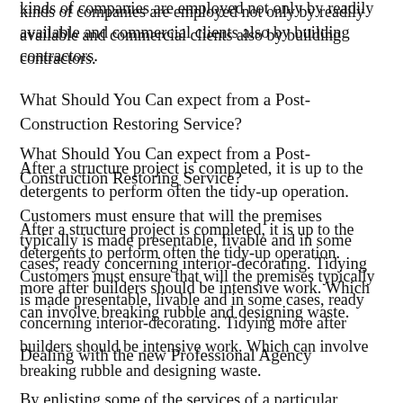kinds of companies are employed not only by readily available and commercial clients also by building contractors.
What Should You Can expect from a Post-Construction Restoring Service?
After a structure project is completed, it is up to the detergents to perform often the tidy-up operation. Customers must ensure that will the premises typically is made presentable, livable and in some cases, ready concerning interior-decorating. Tidying more after builders should be intensive work. Which can involve breaking rubble and designing waste.
Dealing with the new Professional Agency
By enlisting some of the services of a particular professional, you in many cases can ensure that its